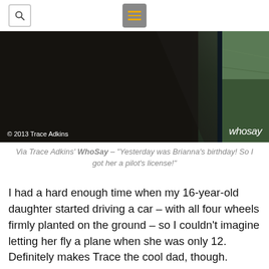[search icon] [menu icon]
[Figure (photo): Dark aircraft interior photo showing the inside of a plane cockpit/window on the left side, with aerial green landscape visible through window on the right side. Copyright watermark '© 2013 Trace Adkins' at bottom left, 'whosay' logo at bottom right.]
Via Trace Adkins' WhoSay – "Yesterday was Brianna's birthday! So I got her a pilot's license!"
I had a hard enough time when my 16-year-old daughter started driving a car – with all four wheels firmly planted on the ground – so I couldn't imagine letting her fly a plane when she was only 12. Definitely makes Trace the cool dad, though.
So, would you let your pre-teen fly a plane? Have yo say in the comments below.